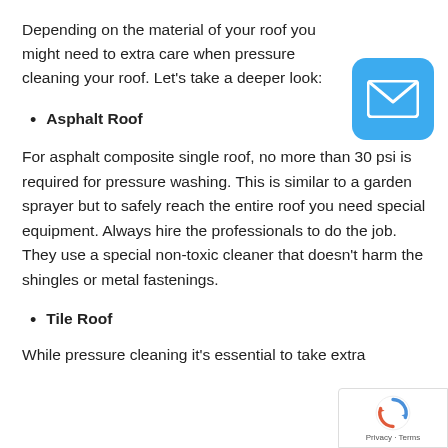Depending on the material of your roof you might need to extra care when pressure cleaning your roof. Let’s take a deeper look:
Asphalt Roof
For asphalt composite single roof, no more than 30 psi is required for pressure washing. This is similar to a garden sprayer but to safely reach the entire roof you need special equipment. Always hire the professionals to do the job. They use a special non-toxic cleaner that doesn’t harm the shingles or metal fastenings.
Tile Roof
While pressure cleaning it’s essential to take extra